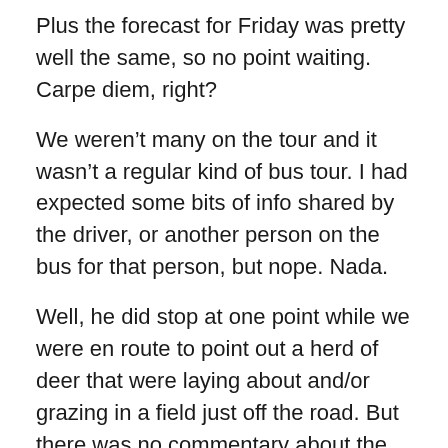Plus the forecast for Friday was pretty well the same, so no point waiting. Carpe diem, right?
We weren't many on the tour and it wasn't a regular kind of bus tour. I had expected some bits of info shared by the driver, or another person on the bus for that person, but nope. Nada.
Well, he did stop at one point while we were en route to point out a herd of deer that were laying about and/or grazing in a field just off the road. But there was no commentary about the area or anything.
I suppose maybe it was in the name – it was a “shuttle” as opposed to a “tour”, so I guess that was it.
I had checked in at the Irish tourism office before doing the tour, and while the man was pleasant, he wasn't super